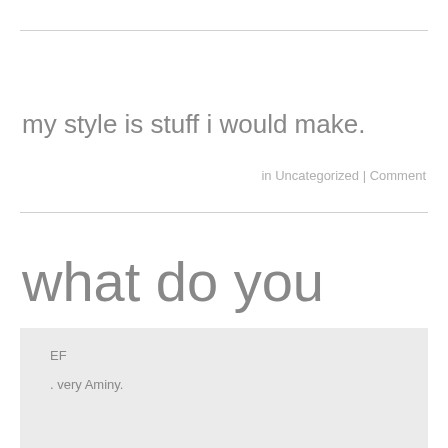my style is stuff i would make.
in Uncategorized | Comment
what do you think?
EF
. very Aminy.